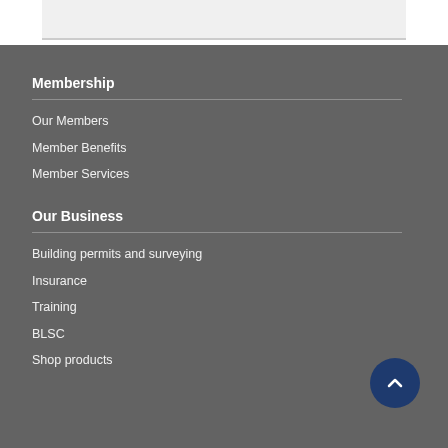Membership
Our Members
Member Benefits
Member Services
Our Business
Building permits and surveying
Insurance
Training
BLSC
Shop products